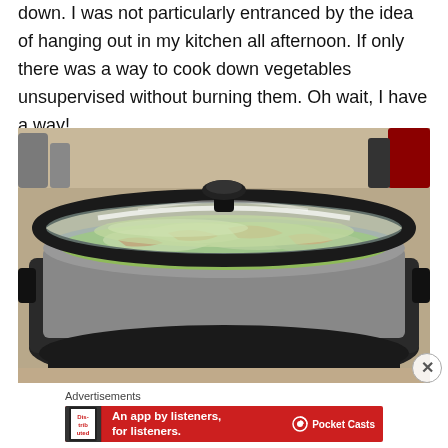down. I was not particularly entranced by the idea of hanging out in my kitchen all afternoon. If only there was a way to cook down vegetables unsupervised without burning them. Oh wait, I have a way!
[Figure (photo): A slow cooker (crock pot) filled with shredded vegetables including cabbage and carrots, covered with a glass lid with a black knob handle. The cooker is sitting on a countertop with other kitchen items visible in the background.]
Advertisements
[Figure (other): Advertisement banner for Pocket Casts app with red background. Text reads 'An app by listeners, for listeners.' with Pocket Casts logo and a phone image showing 'Distributed' text.]